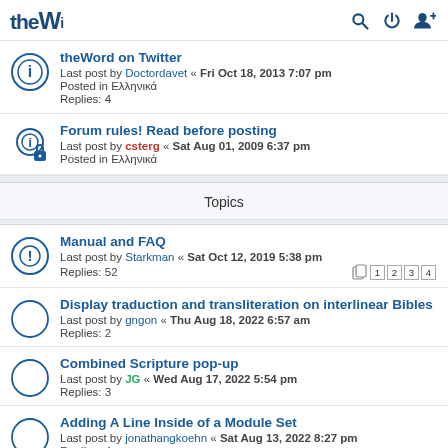theW [logo] [search icon] [power icon] [user icon]
theWord on Twitter
Last post by Doctordavet « Fri Oct 18, 2013 7:07 pm
Posted in Ελληνικά
Replies: 4
Forum rules! Read before posting
Last post by csterg « Sat Aug 01, 2009 6:37 pm
Posted in Ελληνικά
Topics
Manual and FAQ
Last post by Starkman « Sat Oct 12, 2019 5:38 pm
Replies: 52  [pages 1 2 3 4]
Display traduction and transliteration on interlinear Bibles
Last post by gngon « Thu Aug 18, 2022 6:57 am
Replies: 2
Combined Scripture pop-up
Last post by JG « Wed Aug 17, 2022 5:54 pm
Replies: 3
Adding A Line Inside of a Module Set
Last post by jonathangkoehn « Sat Aug 13, 2022 8:27 pm
Replies: 4